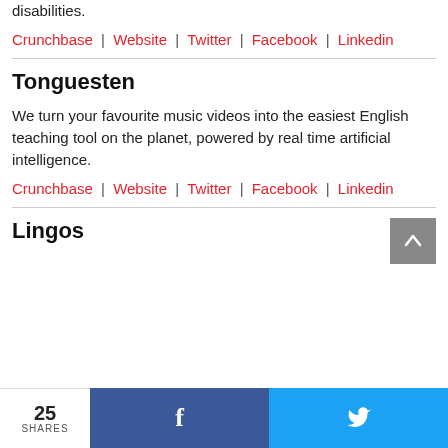disabilities.
Crunchbase | Website | Twitter | Facebook | Linkedin
Tonguesten
We turn your favourite music videos into the easiest English teaching tool on the planet, powered by real time artificial intelligence.
Crunchbase | Website | Twitter | Facebook | Linkedin
Lingos
25 SHARES | f | twitter bird